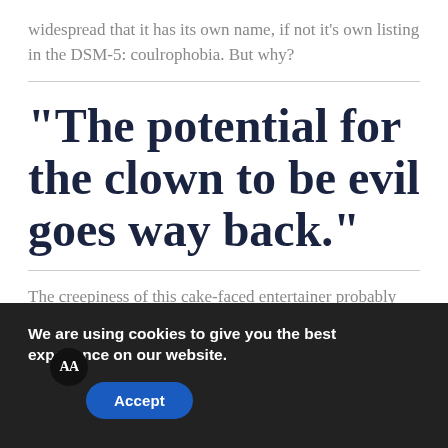widespread that it has its own name, if not it's own listing in the DSM-5: coulrophobia. But why?
"The potential for the clown to be evil goes way back."
The creepiness of this cake-faced entertainer probably goes back to the caves of Lascaux, but for we, the living,
We are using cookies to give you the best experience on our website.
Accept